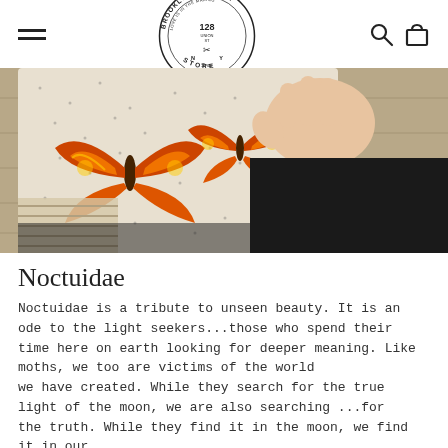Brooklyn General Store — navigation header with hamburger menu, logo, search and cart icons
[Figure (photo): Close-up photo of a knitted sweater with colorful moth/butterfly pattern in orange, yellow, and red on a cream/white background with dark speckles. A person's hand is visible holding the edge of the garment, with the person wearing black pants. The sweater is resting on what appears to be a wooden surface.]
Noctuidae
Noctuidae is a tribute to unseen beauty. It is an ode to the light seekers...those who spend their time here on earth looking for deeper meaning. Like moths, we too are victims of the world we have created. While they search for the true light of the moon, we are also searching ...for the truth. While they find it in the moon, we find it in our